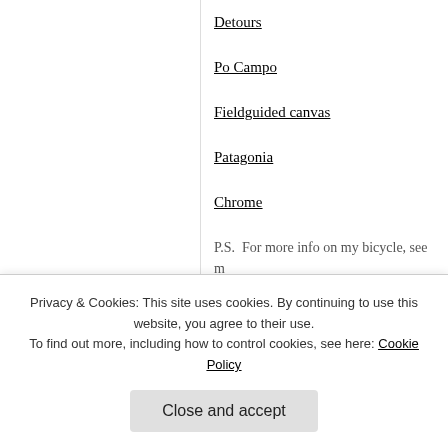Detours
Po Campo
Fieldguided canvas
Patagonia
Chrome
P.S.  For more info on my bicycle, see m… Campo review.
Tagged  Arkel bike bag, Basil bike bag, bike bags for women, bike basket, bike r… bike, carrying items on a bike, Chrome c…
Privacy & Cookies: This site uses cookies. By continuing to use this website, you agree to their use.
To find out more, including how to control cookies, see here: Cookie Policy
Close and accept